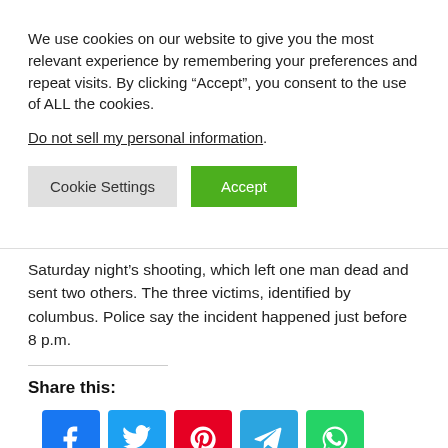We use cookies on our website to give you the most relevant experience by remembering your preferences and repeat visits. By clicking “Accept”, you consent to the use of ALL the cookies.
Do not sell my personal information.
Cookie Settings | Accept
Saturday night’s shooting, which left one man dead and sent two others. The three victims, identified by columbus. Police say the incident happened just before 8 p.m.
Share this:
[Figure (infographic): Social media share icons: Facebook, Twitter, Pinterest, Telegram, WhatsApp]
Related posts: